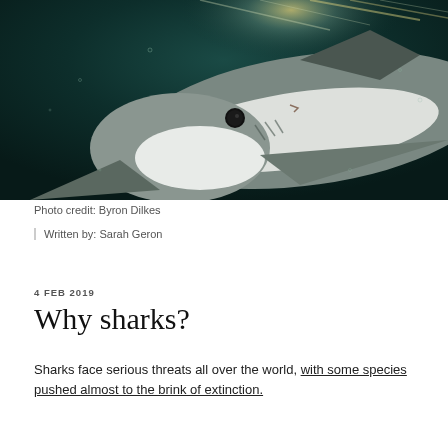[Figure (photo): Underwater photograph of a blue shark swimming toward the camera, taken from below. The shark is pale grey/white on the underside with a darker dorsal side. Sunlight filters through the water surface visible in the upper portion. Photo credit: Byron Dilkes.]
Photo credit: Byron Dilkes
Written by: Sarah Geron
4 FEB 2019
Why sharks?
Sharks face serious threats all over the world, with some species pushed almost to the brink of extinction.